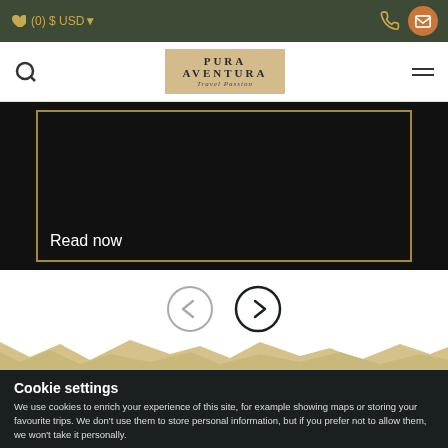♥ (0) $ USD▼
[Figure (logo): Pura Aventura Travel Passion logo in golden box]
[Figure (screenshot): Dark card with golden border showing 'Read now' text on black background]
[Figure (other): Navigation arrows: left arrow (grey) and right arrow (dark)]
[Figure (illustration): Sandy/torn paper decorative section in beige/tan color]
Cookie settings
We use cookies to enrich your experience of this site, for example showing maps or storing your favourite trips. We don't use them to store personal information, but if you prefer not to allow them, we won't take it personally.
OK
Show details and manage cookies